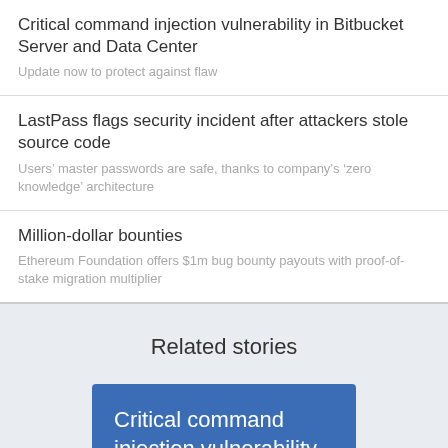Critical command injection vulnerability in Bitbucket Server and Data Center
Update now to protect against flaw
LastPass flags security incident after attackers stole source code
Users' master passwords are safe, thanks to company’s ‘zero knowledge’ architecture
Million-dollar bounties
Ethereum Foundation offers $1m bug bounty payouts with proof-of-stake migration multiplier
Related stories
Critical command injection vulnerability